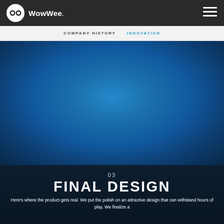WowWee.
COMPANY HISTORY   INNOVATION
[Figure (photo): Blue gradient background image, darker at edges, lighter blue in center — appears to be a product/stage photograph with no discernible foreground subject visible at this scale.]
03
FINAL DESIGN
Here's where the product gets real. We put the polish on an attractive design that can withstand hours of play. We finalize a type of finalize a type of finalize the product and…